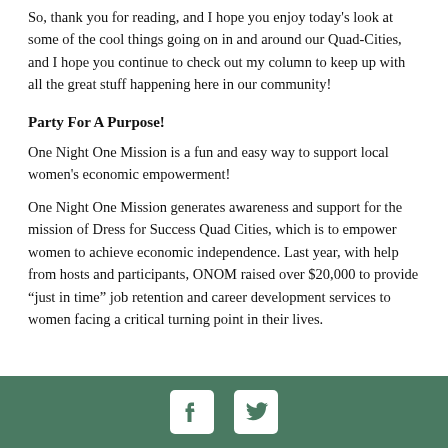So, thank you for reading, and I hope you enjoy today's look at some of the cool things going on in and around our Quad-Cities, and I hope you continue to check out my column to keep up with all the great stuff happening here in our community!
Party For A Purpose!
One Night One Mission is a fun and easy way to support local women's economic empowerment!
One Night One Mission generates awareness and support for the mission of Dress for Success Quad Cities, which is to empower women to achieve economic independence. Last year, with help from hosts and participants, ONOM raised over $20,000 to provide “just in time” job retention and career development services to women facing a critical turning point in their lives.
[Figure (other): Footer bar with Facebook and Twitter social media icons on a dark green background]